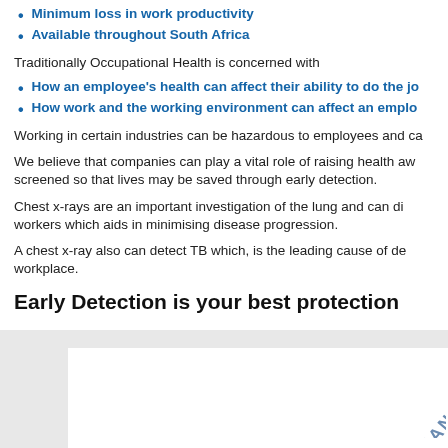Minimum loss in work productivity
Available throughout South Africa
Traditionally Occupational Health is concerned with
How an employee's health can affect their ability to do the job
How work and the working environment can affect an employee
Working in certain industries can be hazardous to employees and ca
We believe that companies can play a vital role of raising health awareness and getting employees screened so that lives may be saved through early detection.
Chest x-rays are an important investigation of the lung and can diagnose diseases in workers which aids in minimising disease progression.
A chest x-ray also can detect TB which, is the leading cause of death in the workplace.
Early Detection is your best protection
[Figure (other): Gray background box with white inner box, and a diagonal watermark text reading 'GMAN.']